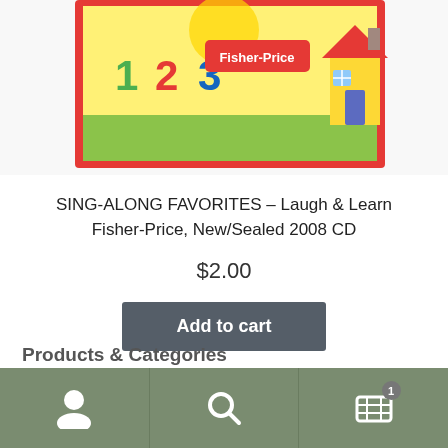[Figure (photo): Fisher-Price Sing-Along Favorites CD product image showing colorful numbers 1 2 3, a Fisher-Price logo, and a cartoon house on a yellow/green background with a red border]
SING-ALONG FAVORITES – Laugh & Learn Fisher-Price, New/Sealed 2008 CD
$2.00
Add to cart
Add to Wishlist
Products & Categories